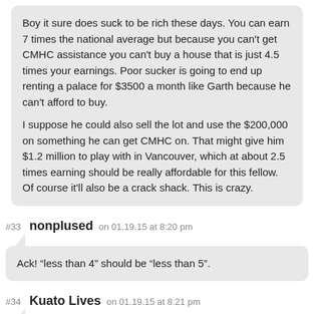Boy it sure does suck to be rich these days. You can earn 7 times the national average but because you can't get CMHC assistance you can't buy a house that is just 4.5 times your earnings. Poor sucker is going to end up renting a palace for $3500 a month like Garth because he can't afford to buy.

I suppose he could also sell the lot and use the $200,000 on something he can get CMHC on. That might give him $1.2 million to play with in Vancouver, which at about 2.5 times earning should be really affordable for this fellow. Of course it'll also be a crack shack. This is crazy.
#33 nonplused on 01.19.15 at 8:20 pm
Ack! “less than 4” should be “less than 5”.
#34 Kuato Lives on 01.19.15 at 8:21 pm
" The average price is down just under 2%, but it's a fair assumption there's worse to come."